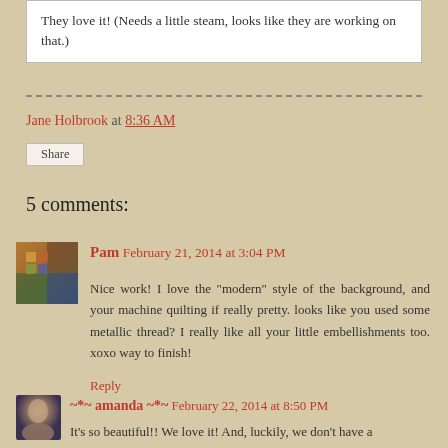They love it! (Needs a little steam, looks like they are working on that.)
Jane Holbrook at 8:36 AM
Share
5 comments:
Pam February 21, 2014 at 3:04 PM
Nice work! I love the "modern" style of the background, and your machine quilting if really pretty. looks like you used some metallic thread? I really like all your little embellishments too. xoxo way to finish!
Reply
~*~ amanda ~*~ February 22, 2014 at 8:50 PM
It's so beautiful!! We love it! And, luckily, we don't have a